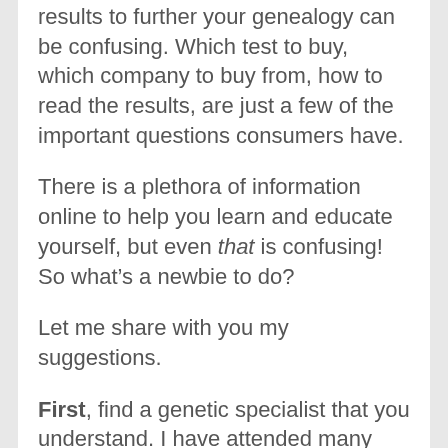results to further your genealogy can be confusing. Which test to buy, which company to buy from, how to read the results, are just a few of the important questions consumers have.
There is a plethora of information online to help you learn and educate yourself, but even that is confusing! So what’s a newbie to do?
Let me share with you my suggestions.
First, find a genetic specialist that you understand. I have attended many DNA lectures over the years. They are not all created equal. I consider myself an educated woman, but some of the lectures